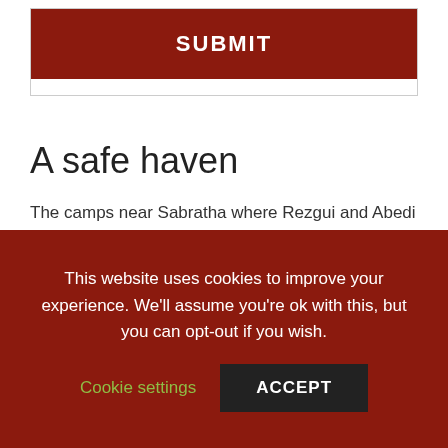[Figure (other): SUBMIT button inside a bordered box, dark red background with white text]
A safe haven
The camps near Sabratha where Rezgui and Abedi were trained in 2014-15 were full of weapons captured from Gaddafi’s arsenals during the 2011 war. Journalist Marie Colvin, who was later killed covering the Syria war, visited a camp outside al-Ajaylet, near Sabratha, in September 2011 and reported that it housed “hundréds of flame-throwers, napalm, detonators, crates of assault rifles
This website uses cookies to improve your experience. We’ll assume you’re ok with this, but you can opt-out if you wish.
Cookie settings
ACCEPT